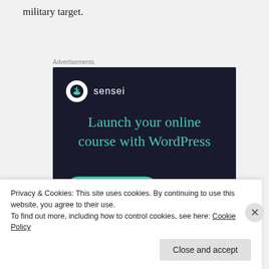military target.
Advertisements
[Figure (illustration): Sensei advertisement banner with dark navy background, Sensei logo (tree icon in white circle), teal headline text 'Launch your online course with WordPress', and a teal 'Learn More' button]
Privacy & Cookies: This site uses cookies. By continuing to use this website, you agree to their use.
To find out more, including how to control cookies, see here: Cookie Policy
Close and accept